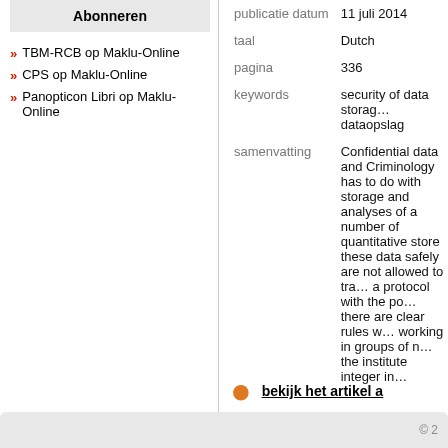Abonneren
TBM-RCB op Maklu-Online
CPS op Maklu-Online
Panopticon Libri op Maklu-Online
| key | value |
| --- | --- |
| publicatie datum | 11 juli 2014 |
| taal | Dutch |
| pagina | 336 |
| keywords | security of data storage, dataopslag |
| samenvatting | Confidential data and Criminology has to do with storage and analyses of a number of quantitative store these data safely are not allowed to transfer a protocol with the police there are clear rules working in groups of n the institute integer in |
bekijk het artikel a
© 2